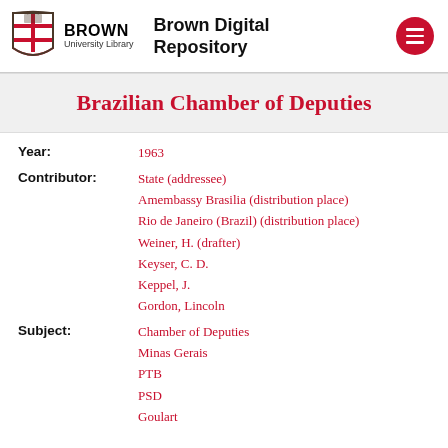Brown University Library | Brown Digital Repository
Brazilian Chamber of Deputies
Year: 1963
Contributor: State (addressee) | Amembassy Brasilia (distribution place) | Rio de Janeiro (Brazil) (distribution place) | Weiner, H. (drafter) | Keyser, C. D. | Keppel, J. | Gordon, Lincoln
Subject: Chamber of Deputies | Minas Gerais | PTB | PSD | Goulart